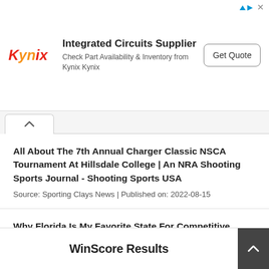[Figure (other): Kynix advertisement banner: Kynix logo in red/orange italic, headline 'Integrated Circuits Supplier', subtext 'Check Part Availability & Inventory from Kynix Kynix', and a 'Get Quote' button on the right. AdChoices icon and close X in top-right corner.]
All About The 7th Annual Charger Classic NSCA Tournament At Hillsdale College | An NRA Shooting Sports Journal - Shooting Sports USA
Source: Sporting Clays News | Published on: 2022-08-15
Why Florida Is My Favorite State For Competitive Shooting | An NRA Shooting Sports Journal - Shooting Sports USA
Source: Sporting Clays News | Published on: 2022-08-15
WinScore Results